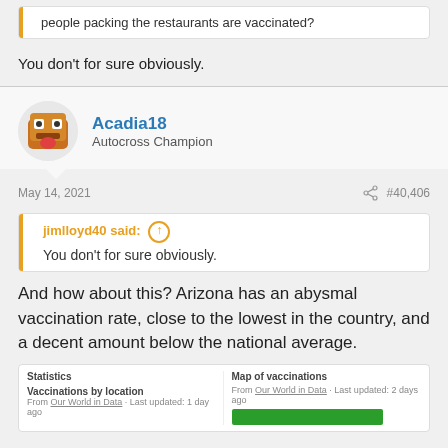people packing the restaurants are vaccinated?
You don't for sure obviously.
Acadia18
Autocross Champion
May 14, 2021
#40,406
jimlloyd40 said:
You don't for sure obviously.
And how about this? Arizona has an abysmal vaccination rate, close to the lowest in the country, and a decent amount below the national average.
[Figure (screenshot): Statistics panel showing Vaccinations by location and Map of vaccinations sections with a green bar graphic]